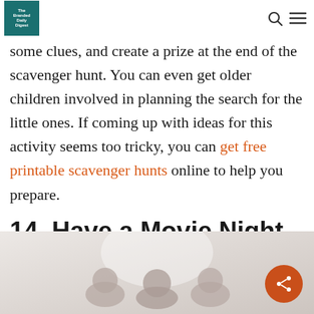The Branded Daily Digest
You'll want to find your kids some specific items, some clues, and create a prize at the end of the scavenger hunt. You can even get older children involved in planning the search for the little ones. If coming up with ideas for this activity seems too tricky, you can get free printable scavenger hunts online to help you prepare.
14. Have a Movie Night
[Figure (photo): Silhouetted figures watching a movie, faded light pink/grey tones suggesting a family movie night scene.]